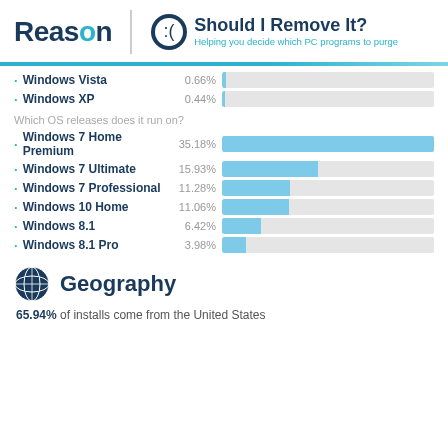[Figure (logo): Reason logo and Should I Remove It? branding header]
[Figure (bar-chart): OS version distribution]
Which OS releases does it run on?
Geography
65.94% of installs come from the United States